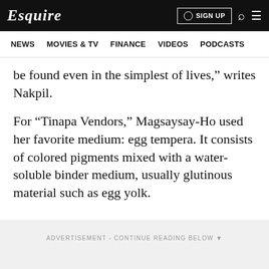Esquire | SIGN UP
NEWS  MOVIES & TV  FINANCE  VIDEOS  PODCASTS
be found even in the simplest of lives," writes Nakpil.
For "Tinapa Vendors," Magsaysay-Ho used her favorite medium: egg tempera. It consists of colored pigments mixed with a water-soluble binder medium, usually glutinous material such as egg yolk.
ADVERTISEMENT - CONTINUE READING BELOW ▾